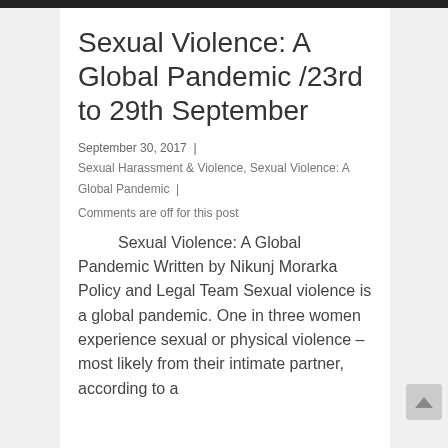Sexual Violence: A Global Pandemic /23rd to 29th September
September 30, 2017  |
Sexual Harassment & Violence, Sexual Violence: A Global Pandemic  |
Comments are off for this post
Sexual Violence: A Global Pandemic Written by Nikunj Morarka Policy and Legal Team Sexual violence is a global pandemic. One in three women experience sexual or physical violence – most likely from their intimate partner, according to a